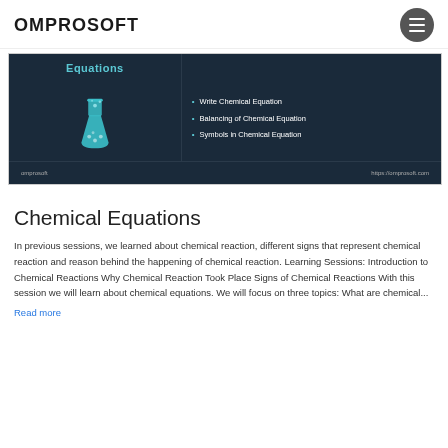OMPROSOFT
[Figure (screenshot): Thumbnail image showing a dark navy blue slide about Chemical Equations with a teal flask illustration on the left and bullet points (Write Chemical Equation, Balancing of Chemical Equation, Symbols in Chemical Equation) on the right. Footer shows 'omprosoft' and 'https://omprosoft.com'.]
Chemical Equations
In previous sessions, we learned about chemical reaction, different signs that represent chemical reaction and reason behind the happening of chemical reaction. Learning Sessions: Introduction to Chemical Reactions Why Chemical Reaction Took Place Signs of Chemical Reactions With this session we will learn about chemical equations. We will focus on three topics: What are chemical...
Read more